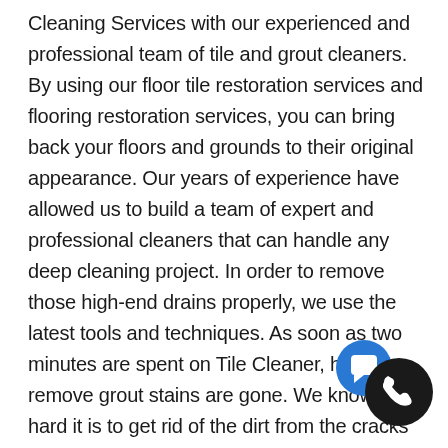Cleaning Services with our experienced and professional team of tile and grout cleaners. By using our floor tile restoration services and flooring restoration services, you can bring back your floors and grounds to their original appearance. Our years of experience have allowed us to build a team of expert and professional cleaners that can handle any deep cleaning project. In order to remove those high-end drains properly, we use the latest tools and techniques. As soon as two minutes are spent on Tile Cleaner, hard-to-remove grout stains are gone. We know how hard it is to get rid of the dirt from the cracks and service. The tension level just gets double-ups if it is about a pristine kitchen or a bathroom. Dirt stains on the tiles not only look yucky but also provides a space for the buildup and bacteria development. You can easily make your kitchen and bathroom a glorious sight just by taking the help of
[Figure (illustration): Two overlapping circular icons in the bottom-right corner: a blue circle with a white chat/message bubble icon, and a black circle with a white telephone handset icon.]